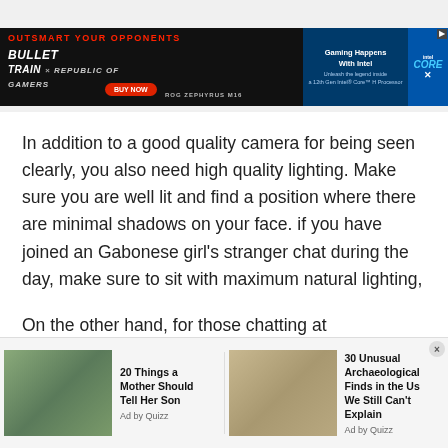[Figure (screenshot): Advertisement banner for Bullet Train x ROG Zephyrus M16 gaming laptop with Intel Core processor. Dark background with red accent text 'OUTSMART YOUR OPPONENTS', Bullet Train branding, Republic of Gamers logo, BUY NOW button, ROG Zephyrus M16 text, and Intel Core branding on right side.]
In addition to a good quality camera for being seen clearly, you also need high quality lighting. Make sure you are well lit and find a position where there are minimal shadows on your face. if you have joined an Gabonese girl's stranger chat during the day, make sure to sit with maximum natural lighting, i.e. near a window.
On the other hand, for those chatting at night, you can purchase a simple LED light which is not only cheap, but it also does the job simply fine. There are several types of
[Figure (screenshot): Bottom ad strip with two sponsored content items: '20 Things a Mother Should Tell Her Son - Ad by Quizz' with image of two people, and '30 Unusual Archaeological Finds in the Us We Still Can't Explain - Ad by Quizz' with aerial image of ground figure.]